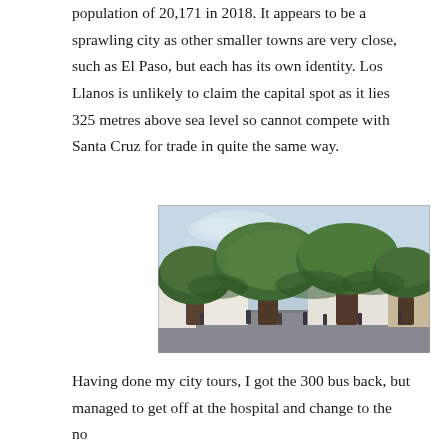population of 20,171 in 2018. It appears to be a sprawling city as other smaller towns are very close, such as El Paso, but each has its own identity. Los Llanos is unlikely to claim the capital spot as it lies 325 metres above sea level so cannot compete with Santa Cruz for trade in quite the same way.
[Figure (photo): Outdoor plaza with large, wide-canopied trees with thick trunks. People walking underneath. White building visible in background, overcast/light sky. Wet pavement.]
Having done my city tours, I got the 300 bus back, but managed to get off at the hospital and change to the no